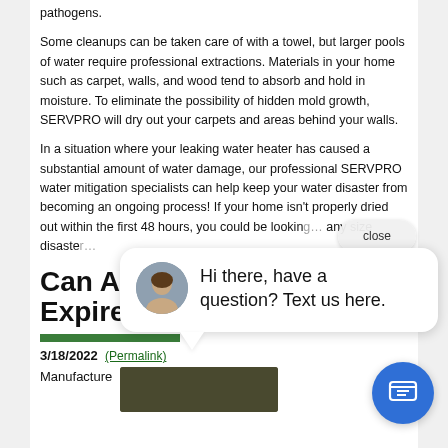pathogens.
Some cleanups can be taken care of with a towel, but larger pools of water require professional extractions. Materials in your home such as carpet, walls, and wood tend to absorb and hold in moisture. To eliminate the possibility of hidden mold growth, SERVPRO will dry out your carpets and areas behind your walls.
In a situation where your leaking water heater has caused a substantial amount of water damage, our professional SERVPRO water mitigation specialists can help keep your water disaster from becoming an ongoing process! If your home isn't properly dried out within the first 48 hours, you could be lookin… any size disaste…
Can A… Expire?
3/18/2022 (Permalink)
Manufacture
[Figure (screenshot): Chat popup overlay with avatar of woman and text 'Hi there, have a question? Text us here.' with close button and blue chat button.]